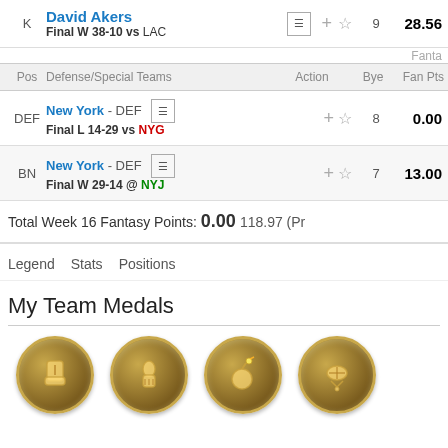| Pos | Player | Action | Bye | Fan Pts |
| --- | --- | --- | --- | --- |
| K | David Akers
Final W 38-10 vs LAC | +☆ | 9 | 28.56 |
| DEF | New York - DEF
Final L 14-29 vs NYG | +☆ | 8 | 0.00 |
| BN | New York - DEF
Final W 29-14 @ NYJ | +☆ | 7 | 13.00 |
Total Week 16 Fantasy Points: 0.00  118.97 (Pr
Legend  Stats  Positions
My Team Medals
[Figure (illustration): Four gold medal coins with sports icons: kicker sock, grip strength, bomb/explosive, football ribbon award]